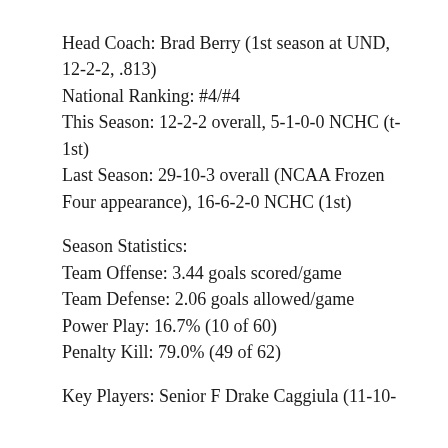Head Coach: Brad Berry (1st season at UND, 12-2-2, .813)
National Ranking: #4/#4
This Season: 12-2-2 overall, 5-1-0-0 NCHC (t-1st)
Last Season: 29-10-3 overall (NCAA Frozen Four appearance), 16-6-2-0 NCHC (1st)
Season Statistics:
Team Offense: 3.44 goals scored/game
Team Defense: 2.06 goals allowed/game
Power Play: 16.7% (10 of 60)
Penalty Kill: 79.0% (49 of 62)
Key Players: Senior F Drake Caggiula (11-10-